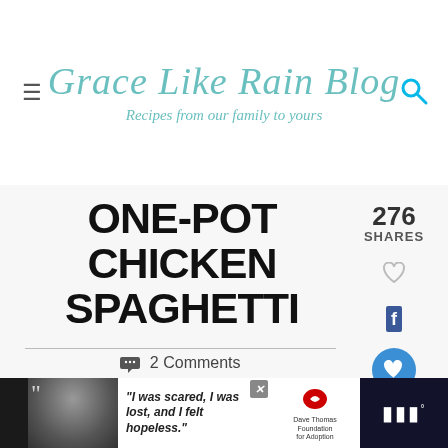Grace Like Rain Blog — Recipes from our family to yours
ONE-POT CHICKEN SPAGHETTI
2 Comments
276 SHARES
[Figure (photo): Close-up photo of one-pot chicken spaghetti pasta with green herb specks]
WHAT'S NEXT Easy Firecracker...
284
"I was scared, I was lost, and I felt hopeless." — Dave Thomas Foundation for Adoption advertisement